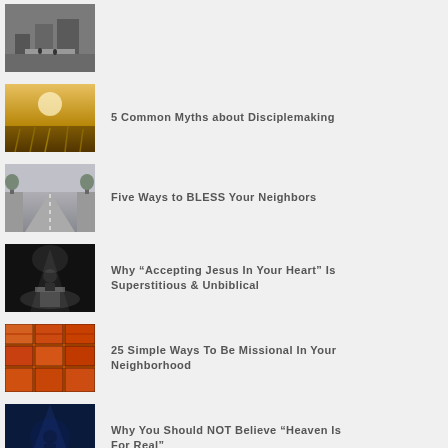[Figure (photo): Black and white photo of a city street or plaza]
[Figure (photo): Golden-toned soft light photo, possibly nature or fields]
5 Common Myths about Disciplemaking
[Figure (photo): Street road perspective photo, grey tones]
Five Ways to BLESS Your Neighbors
[Figure (photo): Black and white photo of a speaker at a podium]
Why “Accepting Jesus In Your Heart” Is Superstitious & Unbiblical
[Figure (photo): Aerial photo of orange/red neighborhood rooftops]
25 Simple Ways To Be Missional In Your Neighborhood
[Figure (photo): Blue-toned photo of a speaker at a podium]
Why You Should NOT Believe “Heaven Is For Real”